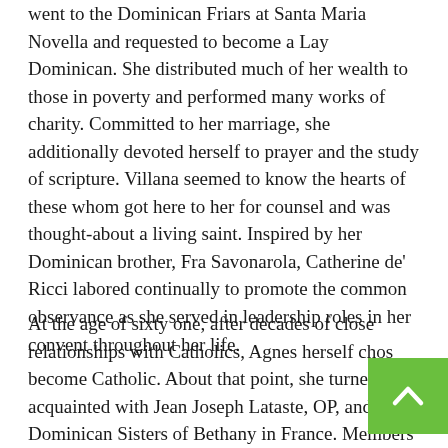went to the Dominican Friars at Santa Maria Novella and requested to become a Lay Dominican. She distributed much of her wealth to those in poverty and performed many works of charity. Committed to her marriage, she additionally devoted herself to prayer and the study of scripture. Villana seemed to know the hearts of these whom got here to her for counsel and was thought-about a living saint. Inspired by her Dominican brother, Fra Savonarola, Catherine de' Ricci labored continually to promote the common observance as she served in leadership roles in her convent throughout her life.
At the age of sixty one, after decades of close relationships with Catholics, Agnes herself chose become Catholic. About that point, she turned acquainted with Jean Joseph Lataste, OP, and the Dominican Sisters of Bethany in France. Members of